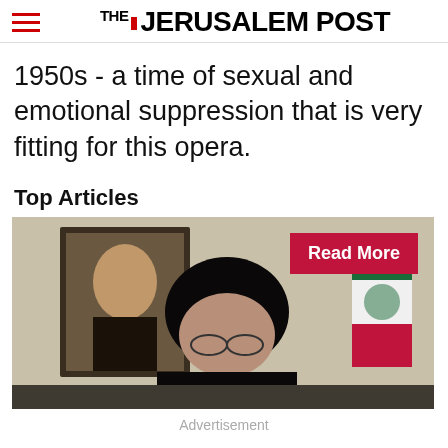THE JERUSALEM POST
1950s - a time of sexual and emotional suppression that is very fitting for this opera.
Top Articles
[Figure (photo): Photo of an elderly cleric in black turban and glasses seated at a desk, with a portrait of Khomeini on the wall behind him and an Iranian flag to the right. A red 'Read More' button overlays the top right corner.]
Advertisement